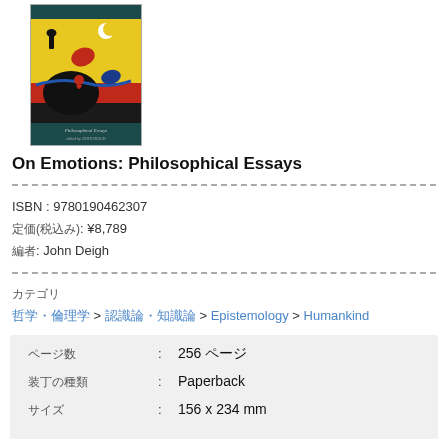[Figure (illustration): Book cover for 'On Emotions: Philosophical Essays' edited by John Deigh. Colorful abstract/surrealist artwork on yellow, red, black background. Text at bottom reads 'Philosophical Essays' and 'edited by JOHN DEIGH'.]
On Emotions: Philosophical Essays
ISBN : 9780190462307
定価(税込み): ¥8,789
編者: John Deigh
カテゴリ
哲学・倫理学 > 認識論・知識論 > Epistemology > Humankind
| ページ数 | : | 256 ページ |
| 装丁の種類 | : | Paperback |
| サイズ | : | 156 x 234 mm |